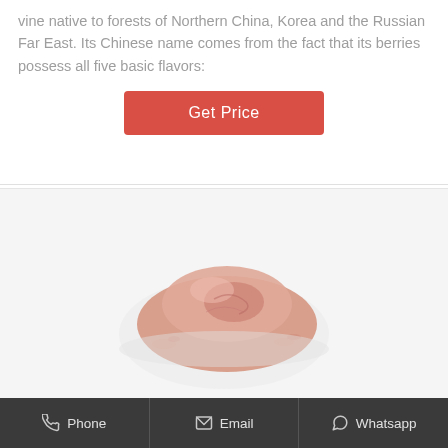vine native to forests of Northern China, Korea and the Russian Far East. Its Chinese name comes from the fact that its berries possess all five basic flavors:
Get Price
[Figure (photo): A pile of pink/rose-colored powder (schisandra berry extract powder) displayed on a white circular surface, viewed from slightly above.]
Phone  |  Email  |  Whatsapp